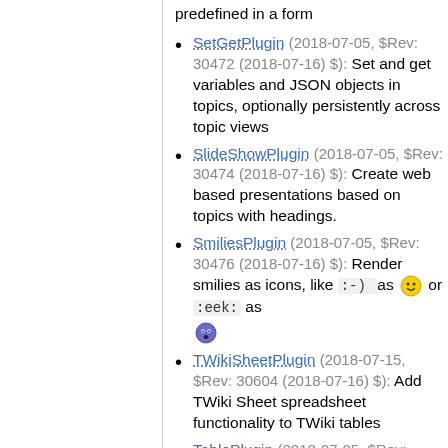predefined in a form
SetGetPlugin (2018-07-05, $Rev: 30472 (2018-07-16) $): Set and get variables and JSON objects in topics, optionally persistently across topic views
SlideShowPlugin (2018-07-05, $Rev: 30474 (2018-07-16) $): Create web based presentations based on topics with headings.
SmiliesPlugin (2018-07-05, $Rev: 30476 (2018-07-16) $): Render smilies as icons, like :-) as [smiley] or :eek: as [eek]
TWikiSheetPlugin (2018-07-15, $Rev: 30604 (2018-07-16) $): Add TWiki Sheet spreadsheet functionality to TWiki tables
TablePlugin (2018-07-05, $Rev: 30480 (2018-07-16) $): Control attributes of tables and sorting of table columns
TagMePlugin (2018-07-05, $Rev: 30482